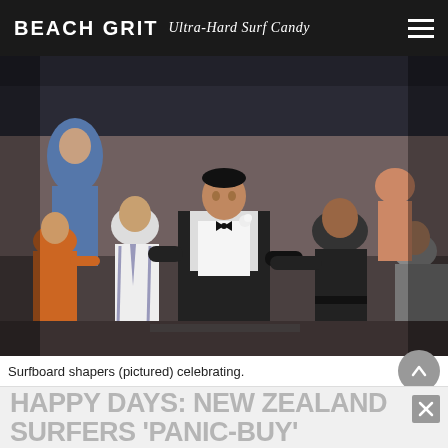BEACH GRIT Ultra-Hard Surf Candy
[Figure (photo): Movie still showing a man in a tuxedo with a white flower boutonniere dancing energetically in a crowd of people at what appears to be a party or celebration scene, with several other men visible in the background.]
Surfboard shapers (pictured) celebrating.
HAPPY DAYS: NEW ZEALAND SURFERS 'PANIC-BUY'